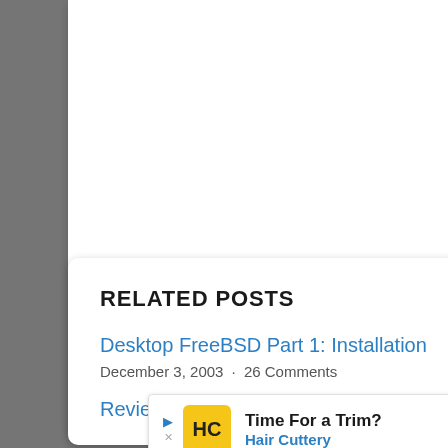[Figure (other): White card area at top, content not visible (blank white space)]
RELATED POSTS
Desktop FreeBSD Part 1: Installation
December 3, 2003 · 26 Comments
Review: Lycoris Desktop/lx 1.4 could replace
[Figure (other): Advertisement banner: Hair Cuttery - Time For a Trim?]